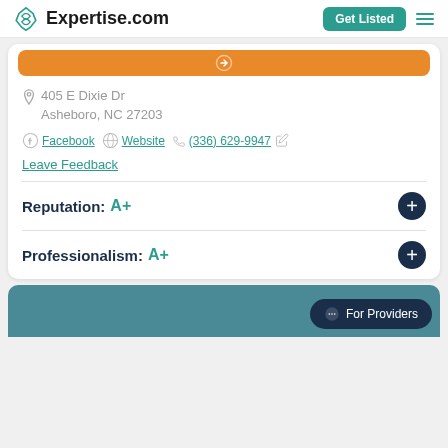Expertise.com — Get Listed
[Figure (screenshot): Orange button bar at top of card]
405 E Dixie Dr
Asheboro, NC 27203
Facebook  Website  (336) 629-9947  Leave Feedback
Reputation: A+
Professionalism: A+
[Figure (screenshot): Bottom teal section with For Providers chat button]